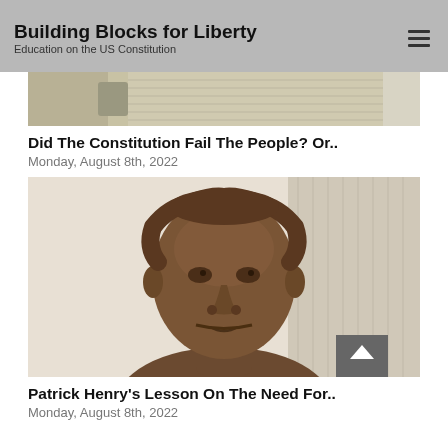Building Blocks for Liberty
Education on the US Constitution
[Figure (photo): Partial view of handwritten document (Constitution) with a hand resting on it]
Did The Constitution Fail The People? Or..
Monday, August 8th, 2022
[Figure (photo): Bronze bust/statue of Patrick Henry, a Founding Father, facing slightly left, with scroll-to-top button in the lower right corner]
Patrick Henry's Lesson On The Need For..
Monday, August 8th, 2022